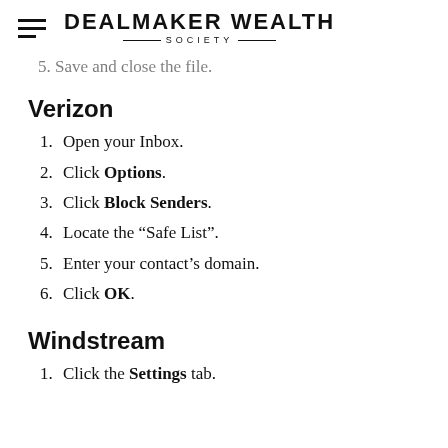DEALMAKER WEALTH SOCIETY
5. Save and close the file.
Verizon
1. Open your Inbox.
2. Click Options.
3. Click Block Senders.
4. Locate the “Safe List”.
5. Enter your contact’s domain.
6. Click OK.
Windstream
1. Click the Settings tab.